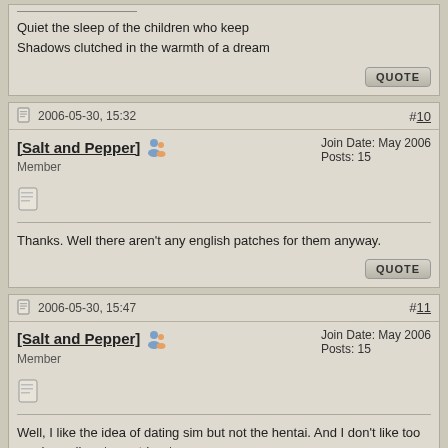Quiet the sleep of the children who keep
Shadows clutched in the warmth of a dream
2006-05-30, 15:32   #10
[Salt and Pepper]   Join Date: May 2006   Posts: 15   Member
Thanks. Well there aren't any english patches for them anyway.
2006-05-30, 15:47   #11
[Salt and Pepper]   Join Date: May 2006   Posts: 15   Member
Well, I like the idea of dating sim but not the hentai. And I don't like too much reading. *sweatdrop*